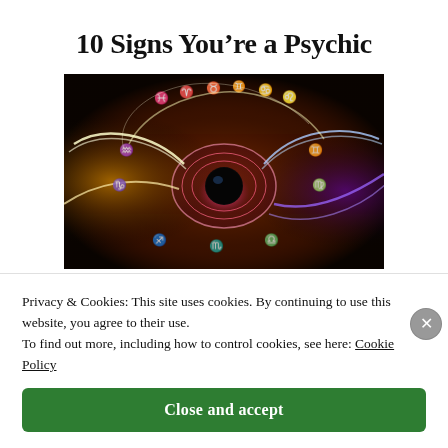10 Signs You’re a Psychic
[Figure (illustration): Mystical glowing eye with astrological zodiac symbols surrounding it on a dark background with colorful light streaks]
Privacy & Cookies: This site uses cookies. By continuing to use this website, you agree to their use.
To find out more, including how to control cookies, see here: Cookie Policy
Close and accept